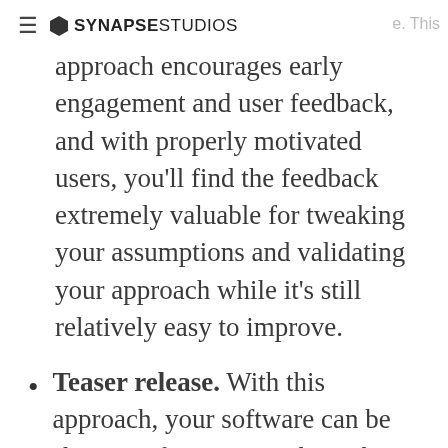≡ SYNAPSE STUDIOS
approach encourages early engagement and user feedback, and with properly motivated users, you'll find the feedback extremely valuable for tweaking your assumptions and validating your approach while it's still relatively easy to improve.
Teaser release. With this approach, your software can be shown to future users through screenshots, videos, webinars, etc. but without early access to the application itself. This is a great